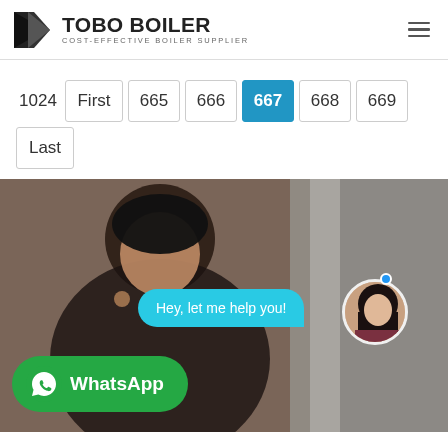TOBO BOILER – COST-EFFECTIVE BOILER SUPPLIER
1024  First  665  666  667  668  669  Last
[Figure (screenshot): Bottom half shows a blurred photo of a smiling woman with a chat bubble saying 'Hey, let me help you!', an avatar of a customer support agent with an online indicator dot, and a green WhatsApp button in the lower left.]